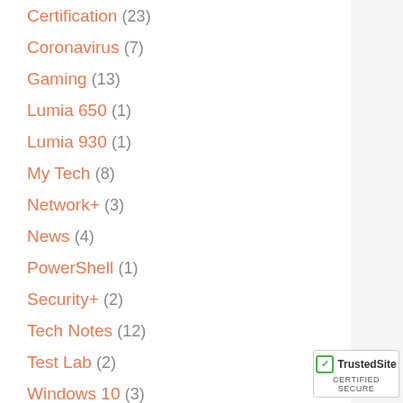Certification (23)
Coronavirus (7)
Gaming (13)
Lumia 650 (1)
Lumia 930 (1)
My Tech (8)
Network+ (3)
News (4)
PowerShell (1)
Security+ (2)
Tech Notes (12)
Test Lab (2)
Windows 10 (3)
Xbox (7)
PAGES
[Figure (logo): TrustedSite Certified Secure badge with green checkmark]